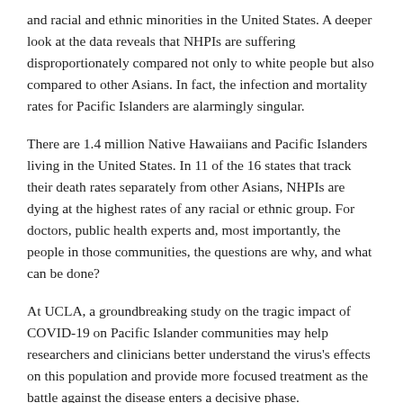and racial and ethnic minorities in the United States. A deeper look at the data reveals that NHPIs are suffering disproportionately compared not only to white people but also compared to other Asians. In fact, the infection and mortality rates for Pacific Islanders are alarmingly singular.
There are 1.4 million Native Hawaiians and Pacific Islanders living in the United States. In 11 of the 16 states that track their death rates separately from other Asians, NHPIs are dying at the highest rates of any racial or ethnic group. For doctors, public health experts and, most importantly, the people in those communities, the questions are why, and what can be done?
At UCLA, a groundbreaking study on the tragic impact of COVID-19 on Pacific Islander communities may help researchers and clinicians better understand the virus's effects on this population and provide more focused treatment as the battle against the disease enters a decisive phase.